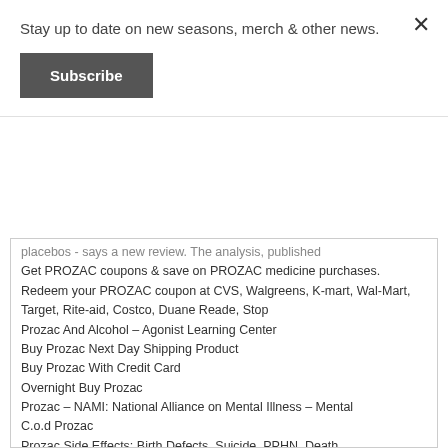Stay up to date on new seasons, merch & other news.
Subscribe
placebos - says a new review. The analysis, published
Get PROZAC coupons & save on PROZAC medicine purchases. Redeem your PROZAC coupon at CVS, Walgreens, K-mart, Wal-Mart, Target, Rite-aid, Costco, Duane Reade, Stop
Prozac And Alcohol – Agonist Learning Center
Buy Prozac Next Day Shipping Product
Buy Prozac With Credit Card
Overnight Buy Prozac
Prozac – NAMI: National Alliance on Mental Illness – Mental
C.o.d Prozac
Prozac Side Effects: Birth Defects, Suicide, PPHN, Death
Prozac Saturday Delivery FedEx
Prozac Pills No Rx Needed
Order Online Pharmacy Prozac
Prozac overnight delivery no rx
Overnight Prozac order